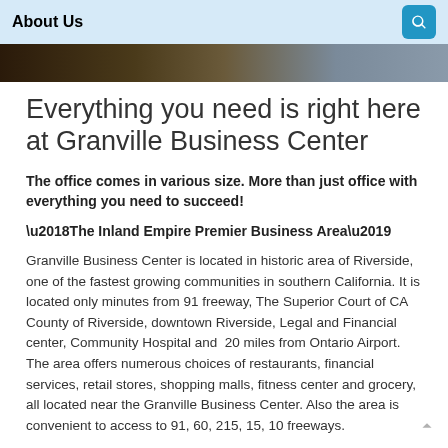About Us
[Figure (photo): A horizontal photo bar showing partial images of people or a building, appearing as a decorative banner at top of page.]
Everything you need is right here at Granville Business Center
The office comes in various size. More than just office with everything you need to succeed!
‘The Inland Empire Premier Business Area’
Granville Business Center is located in historic area of Riverside, one of the fastest growing communities in southern California. It is located only minutes from 91 freeway, The Superior Court of CA County of Riverside, downtown Riverside, Legal and Financial center, Community Hospital and 20 miles from Ontario Airport. The area offers numerous choices of restaurants, financial services, retail stores, shopping malls, fitness center and grocery, all located near the Granville Business Center. Also the area is convenient to access to 91, 60, 215, 15, 10 freeways.